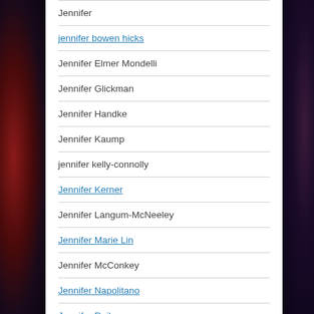Jennifer
jennifer bowen hicks
Jennifer Elmer Mondelli
Jennifer Glickman
Jennifer Handke
Jennifer Kaump
jennifer kelly-connolly
Jennifer Kerner
Jennifer Langum-McNeeley
Jennifer Marie Lin
Jennifer McConkey
Jennifer Napolitano
Jennifer Reibman